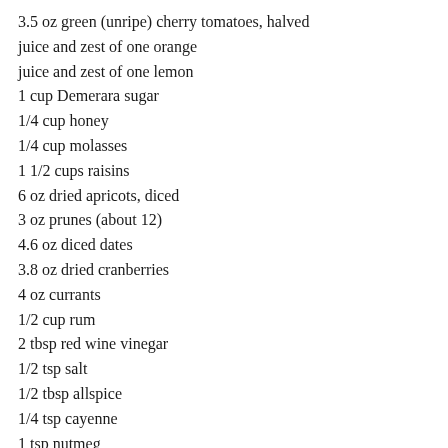3.5 oz green (unripe) cherry tomatoes, halved
juice and zest of one orange
juice and zest of one lemon
1 cup Demerara sugar
1/4 cup honey
1/4 cup molasses
1 1/2 cups raisins
6 oz dried apricots, diced
3 oz prunes (about 12)
4.6 oz diced dates
3.8 oz dried cranberries
4 oz currants
1/2 cup rum
2 tbsp red wine vinegar
1/2 tsp salt
1/2 tbsp allspice
1/4 tsp cayenne
1 tsp nutmeg
1 tbsp cinnamon
1 tbsp fresh-grated ginger
1. Combine all ingredients in a large pot. Cover, and cook over